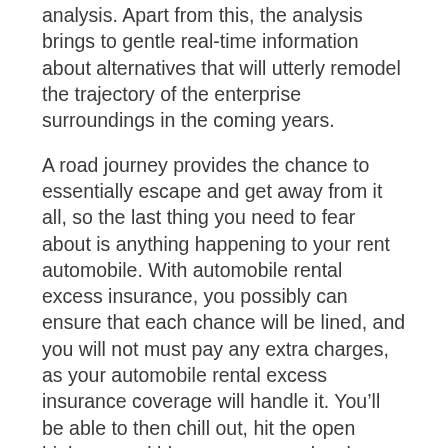analysis. Apart from this, the analysis brings to gentle real-time information about alternatives that will utterly remodel the trajectory of the enterprise surroundings in the coming years.
A road journey provides the chance to essentially escape and get away from it all, so the last thing you need to fear about is anything happening to your rent automobile. With automobile rental excess insurance, you possibly can ensure that each chance will be lined, and you will not must pay any extra charges, as your automobile rental excess insurance coverage will handle it. You'll be able to then chill out, hit the open highway and blow away any cobwebs on considered one of these scenic drives by way of Florida that present a distinct side to the Sunshine State.
The SL-C is another car hailing from Race